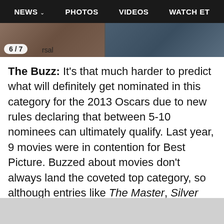NEWS   PHOTOS   VIDEOS   WATCH ET
[Figure (photo): Two partial photos side by side: left shows a warm brown-toned scene, right shows a blue-toned scene. Counter badge shows 6/7 with partial text 'rsal' visible.]
The Buzz: It's that much harder to predict what will definitely get nominated in this category for the 2013 Oscars due to new rules declaring that between 5-10 nominees can ultimately qualify. Last year, 9 movies were in contention for Best Picture. Buzzed about movies don't always land the coveted top category, so although entries like The Master, Silver Linings Playbook and Django Unchained may seem like a lock for Best Picture, it's the performances within them and the craftspeople behind them that are more likely